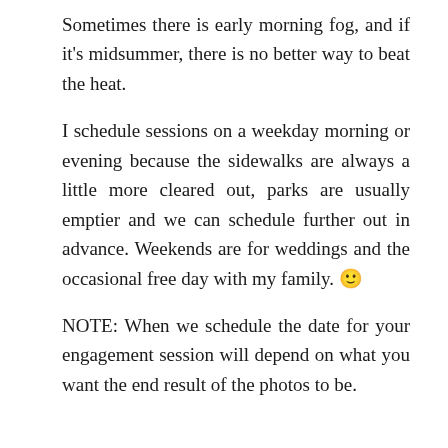Sometimes there is early morning fog, and if it's midsummer, there is no better way to beat the heat.
I schedule sessions on a weekday morning or evening because the sidewalks are always a little more cleared out, parks are usually emptier and we can schedule further out in advance. Weekends are for weddings and the occasional free day with my family. 🙂
NOTE: When we schedule the date for your engagement session will depend on what you want the end result of the photos to be.